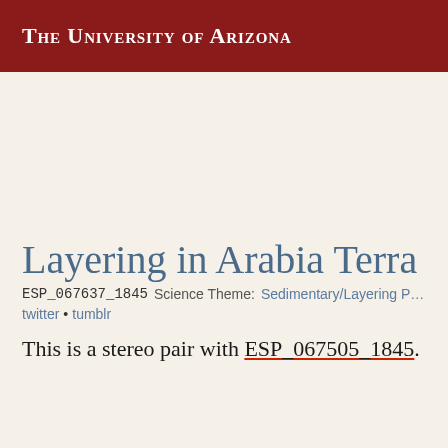The University of Arizona
Layering in Arabia Terra
ESP_067637_1845  Science Theme: Sedimentary/Layering Pr…
twitter • tumblr
This is a stereo pair with ESP_067505_1845.